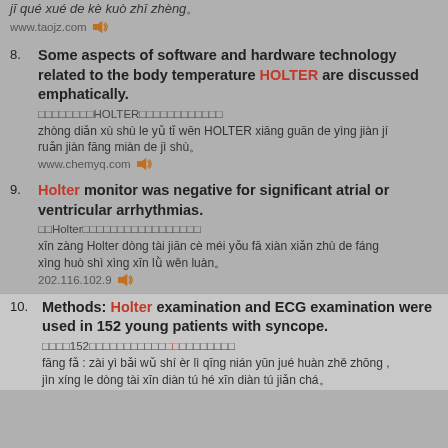jī qué xué de kè kuò zhī zhèng。
www.taojz.com
8. Some aspects of software and hardware technology related to the body temperature HOLTER are discussed emphatically.
□□□□□□□□HOLTER□□□□□□□□□□□□
zhòng diǎn xù shù le yǔ tǐ wēn HOLTER xiāng guān de yìng jiàn jí ruǎn jiàn fāng miàn de jì shù。
www.chemyq.com
9. Holter monitor was negative for significant atrial or ventricular arrhythmias.
□□Holter□□□□□□□□□□□□□□□□□
xīn zàng Holter dòng tài jiān cè méi yǒu fā xiàn xiǎn zhù de fáng xìng huò shì xìng xīn lǜ wěn luàn。
202.116.102.9
10. Methods: Holter examination and ECG examination were used in 152 young patients with syncope.
□□□□152□□□□□□□□□□□□□□□□□□□□□
fāng fǎ : zài yì bǎi wǔ shí èr lì qīng nián yūn jué huàn zhě zhōng , jìn xíng le dòng tài xīn diàn tú hé xīn diàn tú jiǎn chá。